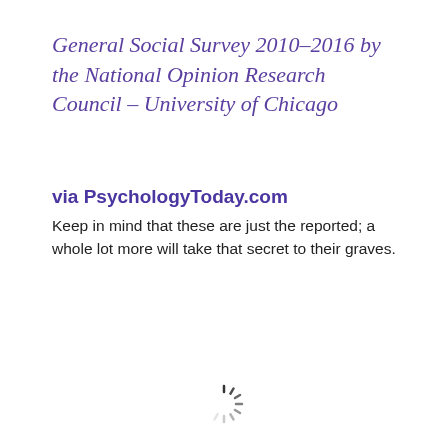General Social Survey 2010–2016 by the National Opinion Research Council – University of Chicago
via PsychologyToday.com
Keep in mind that these are just the reported; a whole lot more will take that secret to their graves.
[Figure (other): Loading spinner graphic at bottom center of page]